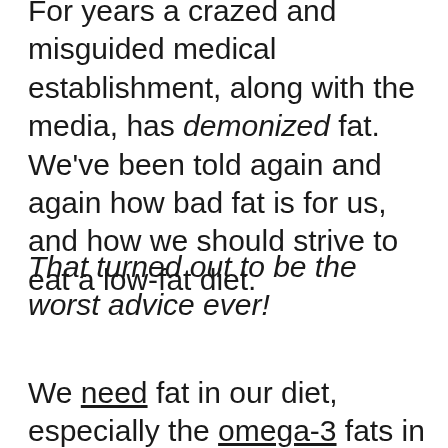For years a crazed and misguided medical establishment, along with the media, has demonized fat. We've been told again and again how bad fat is for us, and how we should strive to eat a low-fat diet.
That turned out to be the worst advice ever!
We need fat in our diet, especially the omega-3 fats in chia. Omega-3 fats provide a high energy reserve, giving you endurance and stamina, and some say they help you weather external stressors like cold temperatures. Studies